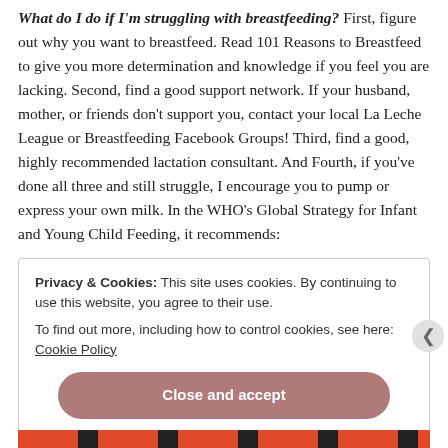What do I do if I'm struggling with breastfeeding? First, figure out why you want to breastfeed. Read 101 Reasons to Breastfeed to give you more determination and knowledge if you feel you are lacking. Second, find a good support network. If your husband, mother, or friends don't support you, contact your local La Leche League or Breastfeeding Facebook Groups! Third, find a good, highly recommended lactation consultant. And Fourth, if you've done all three and still struggle, I encourage you to pump or express your own milk. In the WHO's Global Strategy for Infant and Young Child Feeding, it recommends:
Privacy & Cookies: This site uses cookies. By continuing to use this website, you agree to their use.
To find out more, including how to control cookies, see here: Cookie Policy
Close and accept